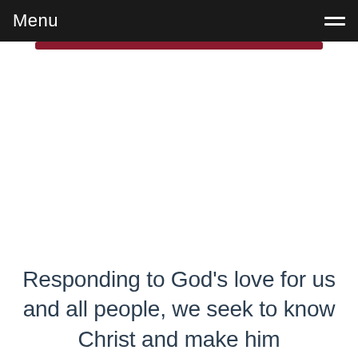Menu
Responding to God's love for us and all people, we seek to know Christ and make him